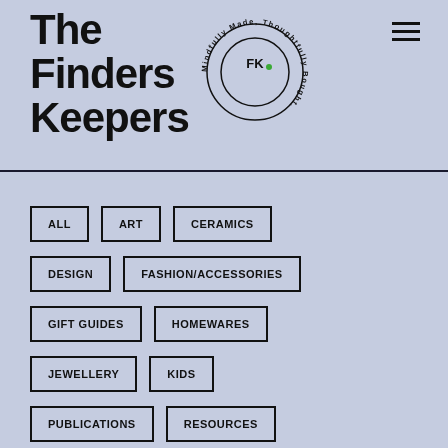The Finders Keepers
[Figure (logo): Circular logo with 'Mindfully Made, Thoughtfully Bought' text around the edge and 'FK' monogram in the center circle]
ALL
ART
CERAMICS
DESIGN
FASHION/ACCESSORIES
GIFT GUIDES
HOMEWARES
JEWELLERY
KIDS
PUBLICATIONS
RESOURCES